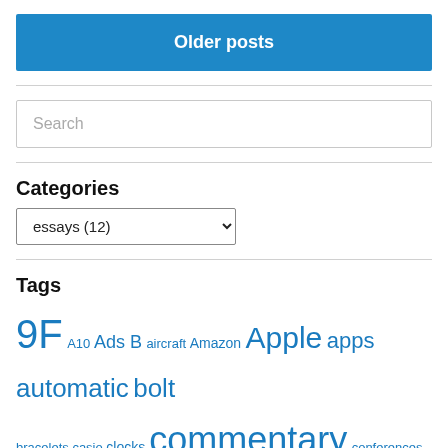Older posts
Search
Categories
essays  (12)
Tags
9F A10 Ads B aircraft Amazon Apple apps automatic bolt bracelets casio clocks commentary conferences covid19 diy watches EVo